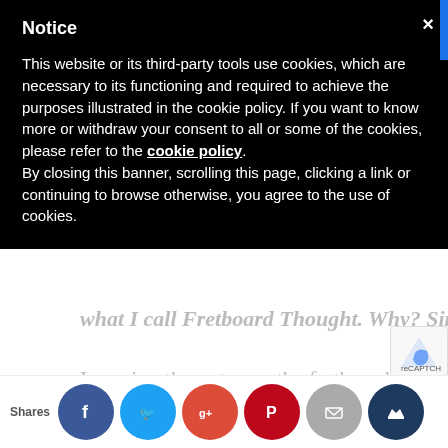Notice
This website or its third-party tools use cookies, which are necessary to its functioning and required to achieve the purposes illustrated in the cookie policy. If you want to know more or withdraw your consent to all or some of the cookies, please refer to the cookie policy.
By closing this banner, scrolling this page, clicking a link or continuing to browse otherwise, you agree to the use of cookies.
what I call Fretboard Thought. Why? Simple!
Learning the notes on the fretboard takes time
and commitment making it (apparently) a less
motivating pursuit. We live in a time where speed
of c... whe... see... rule... beca... e
Shares